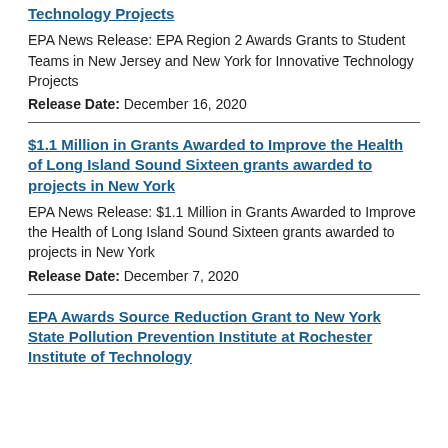Technology Projects
EPA News Release: EPA Region 2 Awards Grants to Student Teams in New Jersey and New York for Innovative Technology Projects
Release Date: December 16, 2020
$1.1 Million in Grants Awarded to Improve the Health of Long Island Sound Sixteen grants awarded to projects in New York
EPA News Release: $1.1 Million in Grants Awarded to Improve the Health of Long Island Sound Sixteen grants awarded to projects in New York
Release Date: December 7, 2020
EPA Awards Source Reduction Grant to New York State Pollution Prevention Institute at Rochester Institute of Technology